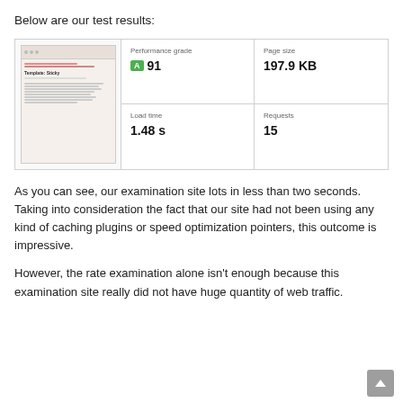Below are our test results:
[Figure (screenshot): Performance test results card showing a sticky template screenshot alongside stats: Performance grade A 91, Page size 197.9 KB, Load time 1.48 s, Requests 15]
As you can see, our examination site lots in less than two seconds. Taking into consideration the fact that our site had not been using any kind of caching plugins or speed optimization pointers, this outcome is impressive.
However, the rate examination alone isn't enough because this examination site really did not have huge quantity of web traffic.